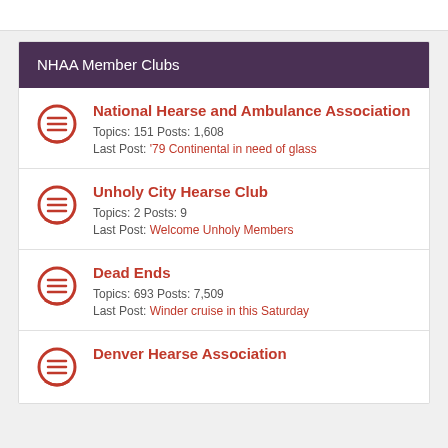NHAA Member Clubs
National Hearse and Ambulance Association
Topics: 151 Posts: 1,608
Last Post: '79 Continental in need of glass
Unholy City Hearse Club
Topics: 2 Posts: 9
Last Post: Welcome Unholy Members
Dead Ends
Topics: 693 Posts: 7,509
Last Post: Winder cruise in this Saturday
Denver Hearse Association